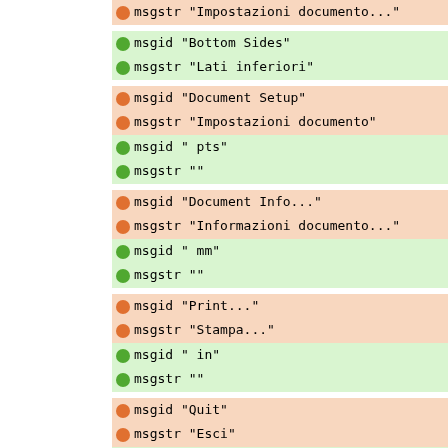msgstr "Impostazioni documento..." (clipped at top)
msgid "Bottom Sides"
msgstr "Lati inferiori"
msgid "Document Setup"
msgstr "Impostazioni documento"
msgid " pts"
msgstr ""
msgid "Document Info..."
msgstr "Informazioni documento..."
msgid " mm"
msgstr ""
msgid "Print..."
msgstr "Stampa..."
msgid " in"
msgstr ""
msgid "Quit"
msgstr "Esci"
msgid " p"
msgstr ""
msgid "View" (clipped at bottom)